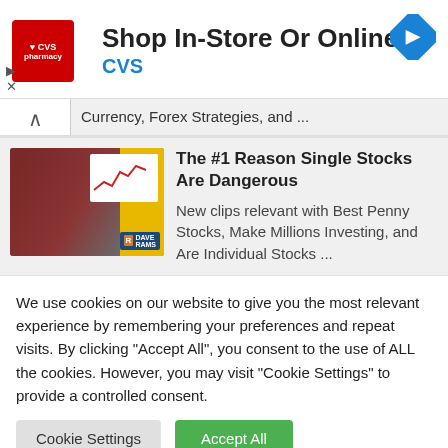[Figure (other): CVS Pharmacy advertisement banner with red CVS logo, text 'Shop In-Store Or Online' and 'CVS', and a blue diamond navigation icon on the right]
Currency, Forex Strategies, and ...
[Figure (photo): Video thumbnail showing a man with headphones in front of a yellow background with Dave Ramsey branding and a stock chart]
The #1 Reason Single Stocks Are Dangerous

New clips relevant with Best Penny Stocks, Make Millions Investing, and Are Individual Stocks ...
We use cookies on our website to give you the most relevant experience by remembering your preferences and repeat visits. By clicking "Accept All", you consent to the use of ALL the cookies. However, you may visit "Cookie Settings" to provide a controlled consent.